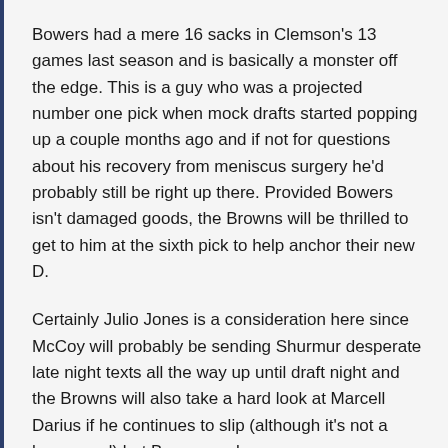Bowers had a mere 16 sacks in Clemson's 13 games last season and is basically a monster off the edge. This is a guy who was a projected number one pick when mock drafts started popping up a couple months ago and if not for questions about his recovery from meniscus surgery he'd probably still be right up there. Provided Bowers isn't damaged goods, the Browns will be thrilled to get to him at the sixth pick to help anchor their new D.
Certainly Julio Jones is a consideration here since McCoy will probably be sending Shurmur desperate late night texts all the way up until draft night and the Browns will also take a hard look at Marcell Darius if he continues to slip (although it's not a huge need) but Bowers makes sense.